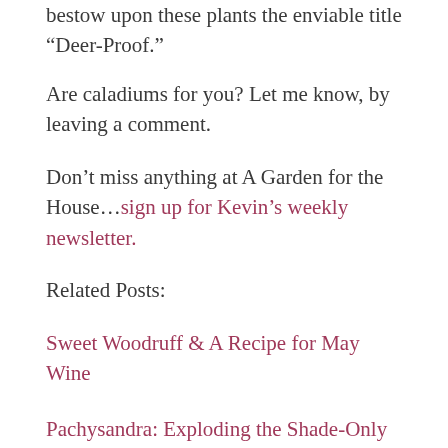bestow upon these plants the enviable title “Deer-Proof.”
Are caladiums for you? Let me know, by leaving a comment.
Don’t miss anything at A Garden for the House…sign up for Kevin’s weekly newsletter.
Related Posts:
Sweet Woodruff & A Recipe for May Wine
Pachysandra: Exploding the Shade-Only Myth